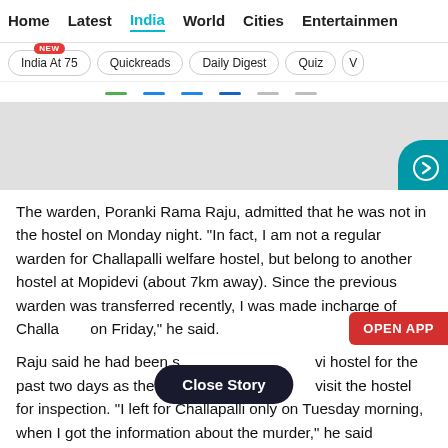Home  Latest  India  World  Cities  Entertainment
India At 75 (NEW)  Quickreads  Daily Digest  Quiz
[Figure (other): Gray banner area with a teal circular arrow button at bottom right]
The warden, Poranki Rama Raju, admitted that he was not in the hostel on Monday night. “In fact, I am not a regular warden for Challapalli welfare hostel, but belong to another hostel at Mopidevi (about 7km away). Since the previous warden was transferred recently, I was made incharge of Challapalli on Friday,” he said.
Raju said he had been staying at the Mopidevi hostel for the past two days as the authorities were due to visit the hostel for inspection. “I left for Challapalli only on Tuesday morning, when I got the information about the murder,” he said